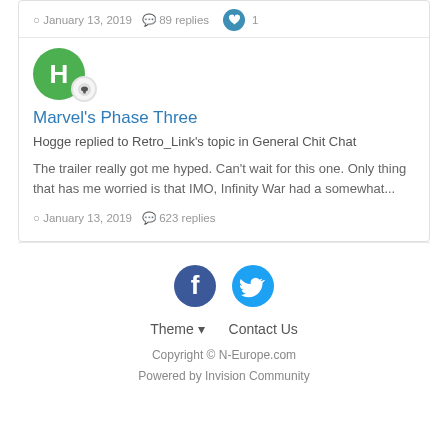January 13, 2019   89 replies   1
Marvel's Phase Three
Hogge replied to Retro_Link's topic in General Chit Chat
The trailer really got me hyped. Can't wait for this one. Only thing that has me worried is that IMO, Infinity War had a somewhat...
January 13, 2019   623 replies
[Figure (logo): Facebook and Twitter social media icons]
Theme ▾   Contact Us
Copyright © N-Europe.com
Powered by Invision Community